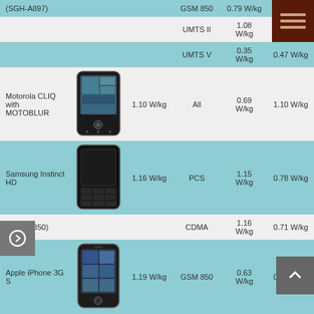| Device | Image | SAR (head) | Band | SAR (body) | SAR (hotspot) |
| --- | --- | --- | --- | --- | --- |
| (SGH-A897) |  |  | GSM 850 | 0.79 W/kg |  |
|  |  |  | UMTS II | 1.08 W/kg | 0.58 W/kg |
|  |  |  | UMTS V | 0.35 W/kg | 0.47 W/kg |
| Motorola CLIQ with MOTOBLUR | [image] | 1.10 W/kg | All | 0.69 W/kg | 1.10 W/kg |
| Samsung Instinct HD | [image] | 1.16 W/kg | PCS | 1.15 W/kg | 0.78 W/kg |
| (SPH-M850) |  |  | CDMA | 1.16 W/kg | 0.71 W/kg |
| Apple iPhone 3G S | [image] | 1.19 W/kg | GSM 850 | 0.63 W/kg | 0.52 W/kg |